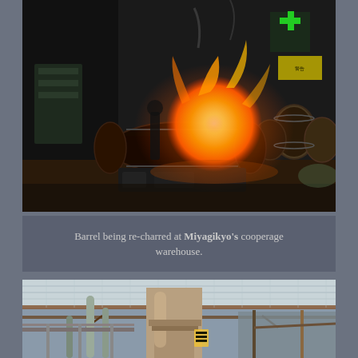[Figure (photo): A barrel being re-charred with intense open flames inside a cooperage warehouse. The barrel is on its side with a large bright orange fireball visible inside it, taken in a darkened industrial setting with other barrels visible in the background.]
Barrel being re-charred at Miyagikyo's cooperage warehouse.
[Figure (photo): Interior of a distillery warehouse showing large metal pot stills or columns rising toward a high ceiling with metal roof trusses visible. The industrial space has metal framework and corrugated roofing.]